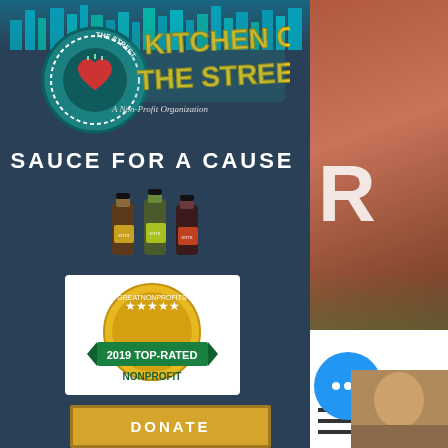[Figure (logo): Kitchen on the Street logo - circular teal emblem with heart and fork, bold graffiti-style text reading KITCHEN ON THE STREET, subtitle A Non-Profit Organization]
SAUCE FOR A CAUSE
[Figure (photo): Three hot sauce bottles grouped together]
[Figure (illustration): GreatNonprofits 2019 Top-Rated Nonprofit badge/seal - gold and teal circular award badge]
[Figure (other): DONATE button - gold/yellow rectangular button with text DONATE]
[Figure (photo): Partial view of orange/salmon toned photo on right side showing outdoor scene with partial R text overlay]
[Figure (other): Hamburger menu icon (three horizontal lines) and partial S letter]
[Figure (other): Blue circular chat button with three dots]
[Figure (photo): Partial face/person photo at bottom right corner]